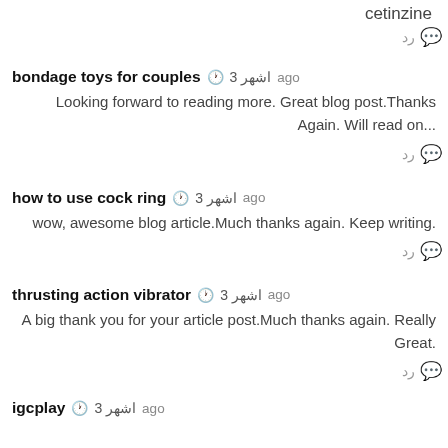cetinzine
رد 💬
bondage toys for couples • 3 اشهر ago
Looking forward to reading more. Great blog post.Thanks...Again. Will read on
رد 💬
how to use cock ring • 3 اشهر ago
.wow, awesome blog article.Much thanks again. Keep writing
رد 💬
thrusting action vibrator • 3 اشهر ago
A big thank you for your article post.Much thanks again. Really .Great
رد 💬
igcplay • 3 اشهر ago